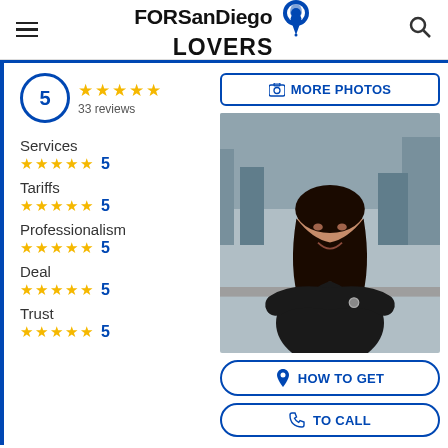FORSanDiego LOVERS
5 — 33 reviews
Services 5
Tariffs 5
Professionalism 5
Deal 5
Trust 5
[Figure (photo): Professional woman with dark hair in black dress, arms crossed, smiling, city background]
MORE PHOTOS
HOW TO GET
TO CALL